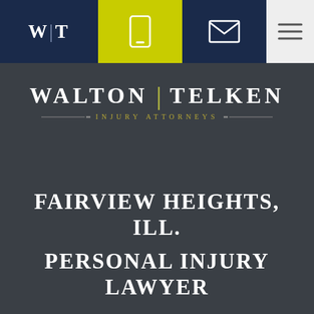[Figure (logo): Navigation bar with W|T logo, phone icon (yellow background), email icon, and hamburger menu on dark navy background]
[Figure (logo): Walton | Telken Injury Attorneys law firm logo on dark gray background with decorative horizontal lines]
FAIRVIEW HEIGHTS, ILL. PERSONAL INJURY LAWYER